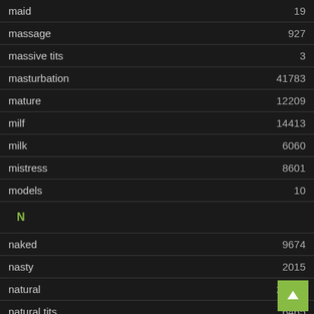| Term | Count |
| --- | --- |
| maid | 19 |
| massage | 927 |
| massive tits | 3 |
| masturbation | 41783 |
| mature | 12209 |
| milf | 14413 |
| milk | 6060 |
| mistress | 8601 |
| models | 10 |
| N |  |
| naked | 9674 |
| nasty | 2015 |
| natural | 28264 |
| natural tits | 6465 |
| naughty |  |
| nerd |  |